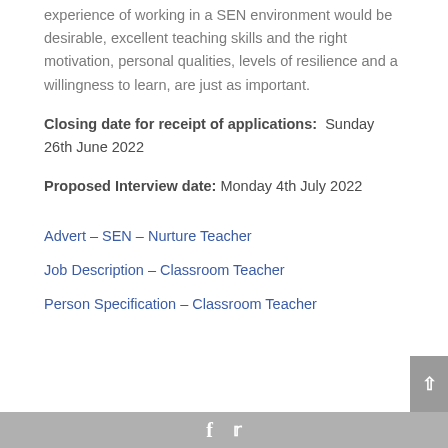experience of working in a SEN environment would be desirable, excellent teaching skills and the right motivation, personal qualities, levels of resilience and a willingness to learn, are just as important.
Closing date for receipt of applications:  Sunday 26th June 2022
Proposed Interview date: Monday 4th July 2022
Advert – SEN – Nurture Teacher
Job Description – Classroom Teacher
Person Specification – Classroom Teacher